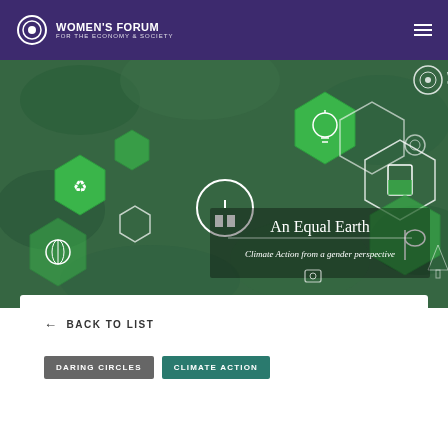WOMEN'S FORUM FOR THE ECONOMY & SOCIETY
[Figure (illustration): Hero image showing green nature background with hexagonal sustainability icons (recycling, lightbulb, plug, beaker, gears, leaf) overlaid. Center text overlay reads 'An Equal Earth' with subtitle 'Climate Action from a gender perspective'. A partial Women's Forum logo appears top-right corner of the hero image.]
← BACK TO LIST
DARING CIRCLES
CLIMATE ACTION